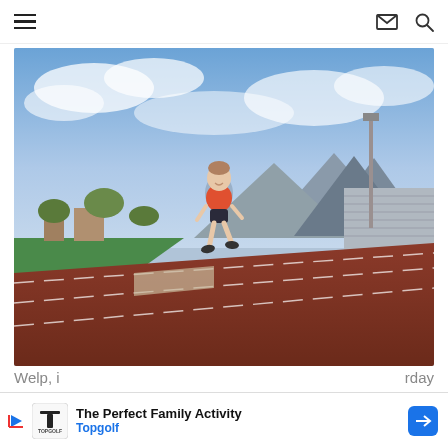Navigation bar with hamburger menu, email icon, and search icon
[Figure (photo): Woman running on a red outdoor track with mountains and blue sky in background, stadium bleachers visible on right side]
Welp, i... rday
[Figure (other): Advertisement banner for Topgolf: 'The Perfect Family Activity' with Topgolf logo and navigation arrow icon]